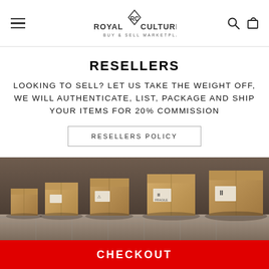[Figure (logo): Royal Culture Buy & Sell Marketplace logo with diamond and RC monogram]
RESELLERS
LOOKING TO SELL? LET US TAKE THE WEIGHT OFF, WE WILL AUTHENTICATE, LIST, PACKAGE AND SHIP YOUR ITEMS FOR 20% COMMISSION
RESELLERS POLICY
[Figure (photo): Cardboard shipping boxes on a conveyor belt in a warehouse]
CHECKOUT